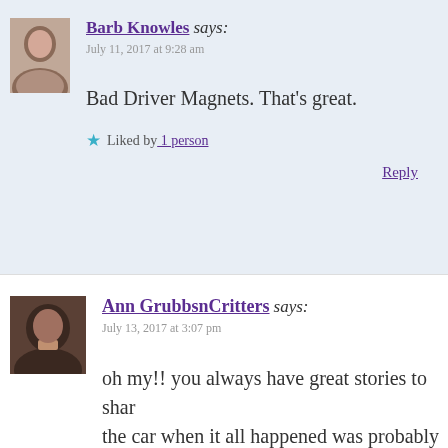Barb Knowles says: July 11, 2017 at 9:28 am
Bad Driver Magnets. That's great.
Liked by 1 person
Reply
Ann GrubbsnCritters says: July 13, 2017 at 3:07 pm
oh my!! you always have great stories to share the car when it all happened was probably th
Liked by 1 person
Reply